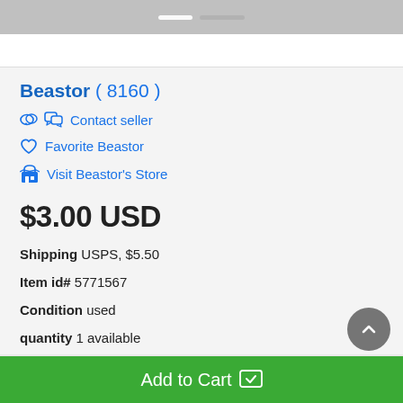Beastor ( 8160 )
Contact seller
Favorite Beastor
Visit Beastor's Store
$3.00 USD
Shipping USPS, $5.50
Item id# 5771567
Condition used
quantity 1 available
Add to Cart